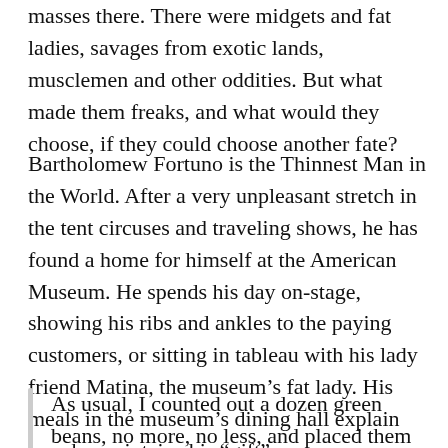masses there.  There were midgets and fat ladies, savages from exotic lands, musclemen and other oddities.  But what made them freaks, and what would they choose, if they could choose another fate?
Bartholomew Fortuno is the Thinnest Man in the World.  After a very unpleasant stretch in the tent circuses and traveling shows, he has found a home for himself at the American Museum.  He spends his day on-stage, showing his ribs and ankles to the paying customers, or sitting in tableau with his lady friend Matina, the museum’s fat lady.  His meals in the museum’s dining hall explain how he maintains his “gift”:
As usual, I counted out a dozen green beans, no more, no less, and placed them horizontally on my plate, along with a bit